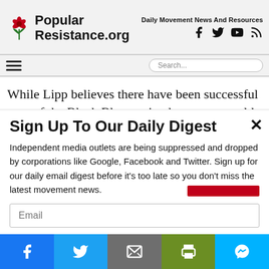PopularResistance.org — Daily Movement News And Resources
While Lipp believes there have been successful uses of the Black Bloc tactic, these uses would fall under
Sign Up To Our Daily Digest
Independent media outlets are being suppressed and dropped by corporations like Google, Facebook and Twitter. Sign up for our daily email digest before it's too late so you don't miss the latest movement news.